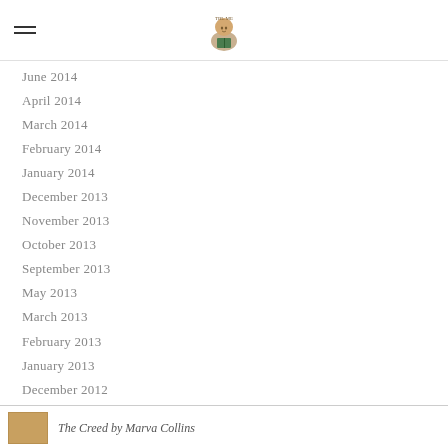[logo: illustrated character reading]
June 2014
April 2014
March 2014
February 2014
January 2014
December 2013
November 2013
October 2013
September 2013
May 2013
March 2013
February 2013
January 2013
December 2012
November 2012
October 2012
The Creed by Marva Collins